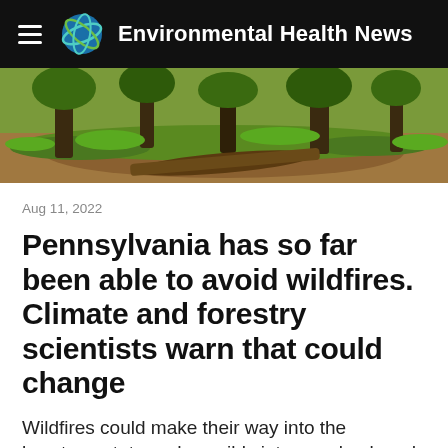Environmental Health News
[Figure (photo): Forest scene with trees and green undergrowth, brown soil visible]
Aug 11, 2022
Pennsylvania has so far been able to avoid wildfires. Climate and forestry scientists warn that could change
Wildfires could make their way into the keystone state and possibly into your backyard, climate, fire and forestry...